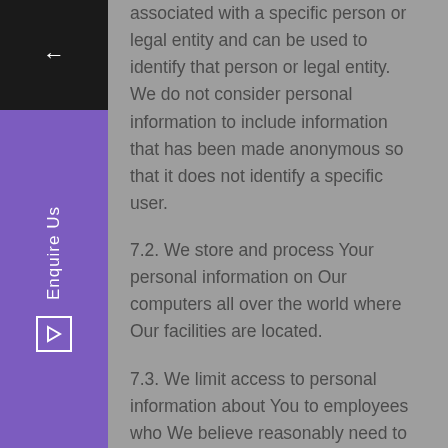associated with a specific person or legal entity and can be used to identify that person or legal entity. We do not consider personal information to include information that has been made anonymous so that it does not identify a specific user.
7.2. We store and process Your personal information on Our computers all over the world where Our facilities are located.
7.3. We limit access to personal information about You to employees who We believe reasonably need to come into contact with that information to provide products or services to You or in order to fulfill